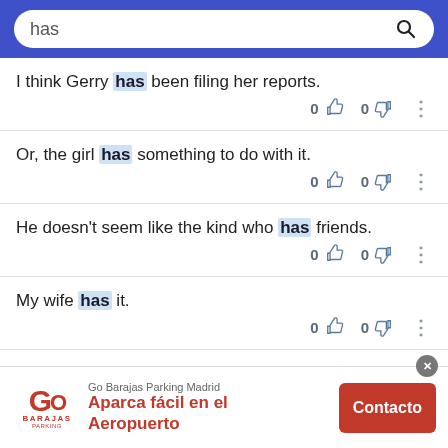has [search bar]
I think Gerry has been filing her reports.  0 👍  0 👎
Or, the girl has something to do with it.  0 👍  0 👎
He doesn't seem like the kind who has friends.  0 👍  0 👎
My wife has it.  0 👍  0 👎
[Figure (screenshot): Advertisement banner for Go Barajas Parking Madrid with red logo, text 'Aparca fácil en el Aeropuerto' and a red 'Contacto' button]